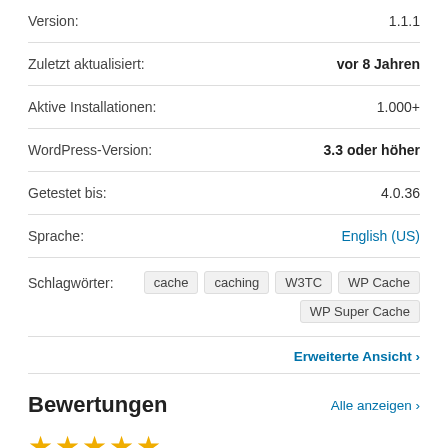| Version: | 1.1.1 |
| Zuletzt aktualisiert: | vor 8 Jahren |
| Aktive Installationen: | 1.000+ |
| WordPress-Version: | 3.3 oder höher |
| Getestet bis: | 4.0.36 |
| Sprache: | English (US) |
| Schlagwörter: | cache  caching  W3TC  WP Cache  WP Super Cache |
Erweiterte Ansicht ›
Bewertungen
Alle anzeigen ›
[Figure (other): Five gold star rating icons]